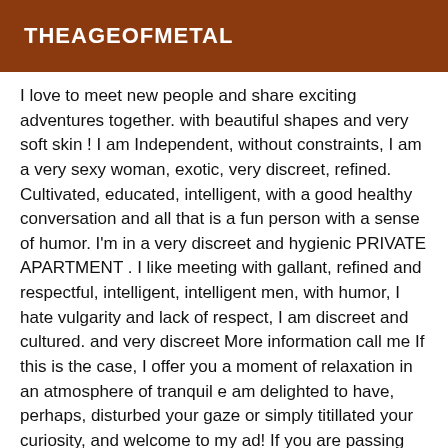THEAGEOFMETAL
I love to meet new people and share exciting adventures together. with beautiful shapes and very soft skin ! I am Independent, without constraints, I am a very sexy woman, exotic, very discreet, refined. Cultivated, educated, intelligent, with a good healthy conversation and all that is a fun person with a sense of humor. I'm in a very discreet and hygienic PRIVATE APARTMENT . I like meeting with gallant, refined and respectful, intelligent, intelligent men, with humor, I hate vulgarity and lack of respect, I am discreet and cultured. and very discreet More information call me If this is the case, I offer you a moment of relaxation in an atmosphere of tranquil e am delighted to have, perhaps, disturbed your gaze or simply titillated your curiosity, and welcome to my ad! If you are passing through this city, looking for moments of relaxation; so I propose you my Service(s) Massage Accompaniment Strip-tease Domination Gosting adult with a daring person with an assumed